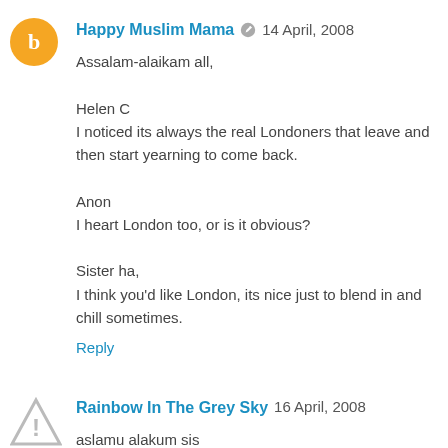Happy Muslim Mama  14 April, 2008
Assalam-alaikam all,

Helen C
I noticed its always the real Londoners that leave and then start yearning to come back.

Anon
I heart London too, or is it obvious?

Sister ha,
I think you'd like London, its nice just to blend in and chill sometimes.
Reply
Rainbow In The Grey Sky  16 April, 2008
aslamu alakum sis
i really love this post a post so close to my own heart and roots!!!!I am born and bred , east Londoner mate!!!! could not!!??